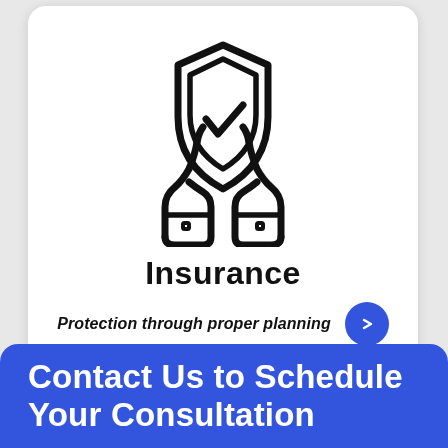[Figure (illustration): Two hands cupping a shield with a checkmark icon, representing insurance protection]
Insurance
Protection through proper planning
Contact Us to Schedule Your Consultation